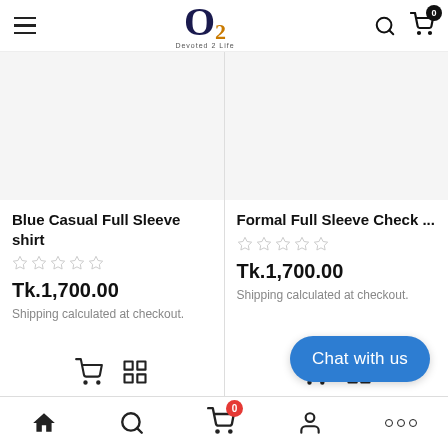O2 Devoted 2 Life — navigation header with hamburger menu, logo, search and cart icons
[Figure (screenshot): Product image placeholder (white/light grey) for Blue Casual Full Sleeve shirt]
Blue Casual Full Sleeve shirt
☆☆☆☆☆
Tk.1,700.00
Shipping calculated at checkout.
[Figure (screenshot): Product image placeholder (white/light grey) for Formal Full Sleeve Check ...]
Formal Full Sleeve Check ...
☆☆☆☆☆
Tk.1,700.00
Shipping calculated at checkout.
Chat with us
Bottom navigation bar: home, search, cart (0), account, more